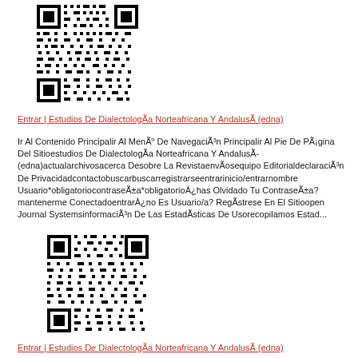[Figure (other): QR code image (first)]
Entrar | Estudios De Dialectología Norteafricana Y Andalusí (edna)
Ir Al Contenido Principalir Al Menú De Navegación Principalir Al Pie De Página Del Sitioestudios De Dialectología Norteafricana Y Andalusí (edna)actualarchivosacerca Desobre La Revistaenvíosequipo Editorialdeclaración De Privacidadcontactobuscarbuscarregistrarseentrarinicio/entrarnombre Usuario*obligatoriocontraseña*obligatorio¿has Olvidado Tu Contraseña?mantenerme Conectadoentrar¿no Es Usuario/a? Regístrese En El Sitioopen Journal Systemsinformación De Las Estadísticas De Usorecopilamos Estad...
[Figure (other): QR code image (second)]
Entrar | Estudios De Dialectología Norteafricana Y Andalusí (edna)
Ir Al Contenido Principalir Al Menú De Navegación Principalir Al Pie De Página Del Sitioestudios De Dialectología Norteafricana Y Andalusí (edna)...